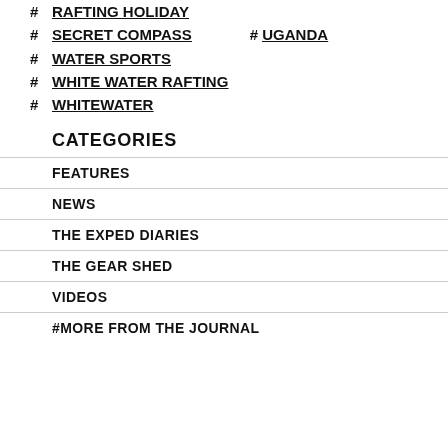# RAFTING HOLIDAY
# SECRET COMPASS   # UGANDA
# WATER SPORTS
# WHITE WATER RAFTING
# WHITEWATER
CATEGORIES
FEATURES
NEWS
THE EXPED DIARIES
THE GEAR SHED
VIDEOS
MORE FROM THE JOURNAL